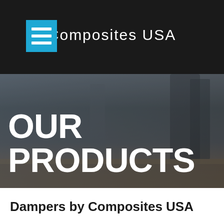Composites USA
[Figure (logo): Blue square hamburger menu icon with three white horizontal bars]
OUR PRODUCTS
[Figure (photo): Blurred industrial/workshop background image with dark overlay]
Dampers by Composites USA